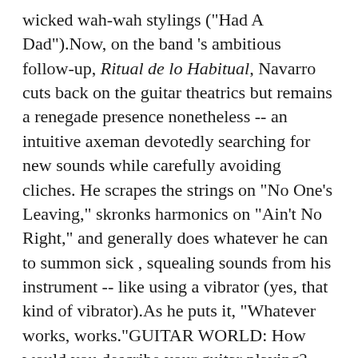wicked wah-wah stylings ("Had A Dad").Now, on the band 's ambitious follow-up, Ritual de lo Habitual, Navarro cuts back on the guitar theatrics but remains a renegade presence nonetheless -- an intuitive axeman devotedly searching for new sounds while carefully avoiding cliches. He scrapes the strings on "No One's Leaving," skronks harmonics on "Ain't No Right," and generally does whatever he can to summon sick , squealing sounds from his instrument -- like using a vibrator (yes, that kind of vibrator).As he puts it, "Whatever works, works."GUITAR WORLD: How would you describe your guitar playing?Well, I'm not technical at all. I don 't know anything about equipment, and I don't even practice at all anymore unless I'm playing with the band. Guitar playing is just something that came to me and is really second nature now.You seem to